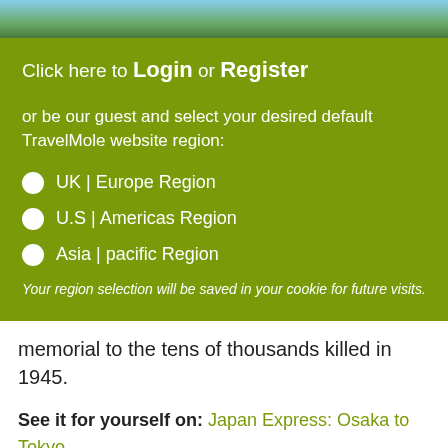[Figure (photo): Partial photo strip at top of page showing outdoor scenery with blue sky and greenery]
Click here to Login or Register
or be our guest and select your desired default TravelMole website region:
UK | Europe Region
U.S | Americas Region
Asia | pacific Region
Your region selection will be saved in your cookie for future visits.
memorial to the tens of thousands killed in 1945.
See it for yourself on: Japan Express: Osaka to Tokyo